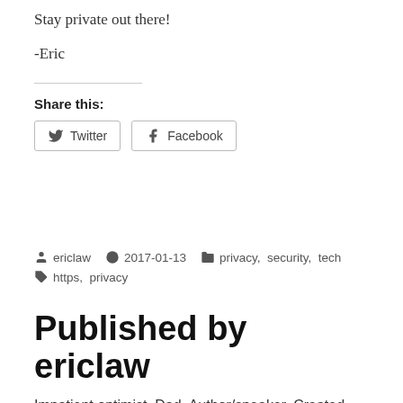Stay private out there!
-Eric
Share this:
Twitter  Facebook
Posted by ericlaw  2017-01-13  Categories: privacy, security, tech  Tags: https, privacy
Published by ericlaw
Impatient optimist. Dad. Author/speaker. Created